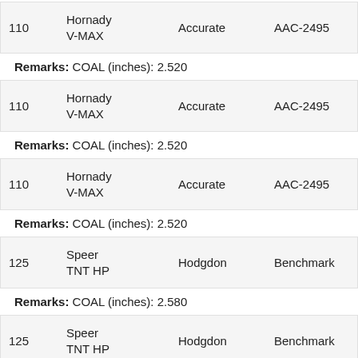| Weight | Bullet | Powder | Brand | Action |
| --- | --- | --- | --- | --- |
| 110 | Hornady V-MAX | Accurate | AAC-2495 | SUBSCRIBE |
| 110 | Hornady V-MAX | Accurate | AAC-2495 | SUBSCRIBE |
| 110 | Hornady V-MAX | Accurate | AAC-2495 | SUBSCRIBE |
| 125 | Speer TNT HP | Hodgdon | Benchmark | SUBSCRIBE |
| 125 | Speer TNT HP | Hodgdon | Benchmark | SUBSCRIBE |
Remarks: COAL (inches): 2.520
Remarks: COAL (inches): 2.520
Remarks: COAL (inches): 2.520
Remarks: COAL (inches): 2.580